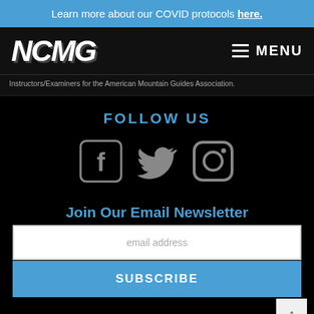Learn more about our COVID protocols here.
[Figure (logo): NCMG logo in white bold italic text on dark background with mountain/rock graphic watermark]
Instructors/Examiners for the American Mountain Guides Association.
FOLLOW US
[Figure (infographic): Three social media icons: Facebook (f), Twitter (bird), Instagram (camera) in grey on black background]
Join Our Email Newsletter
email address
SUBSCRIBE